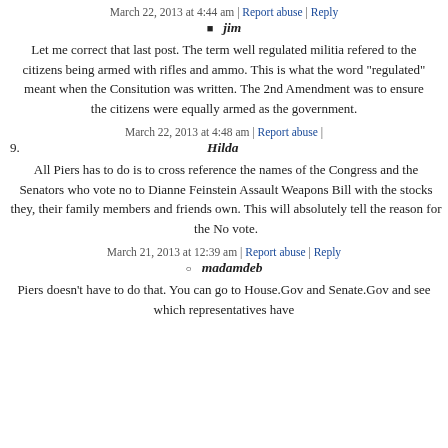March 22, 2013 at 4:44 am | Report abuse | Reply
jim
Let me correct that last post. The term well regulated militia refered to the citizens being armed with rifles and ammo. This is what the word "regulated" meant when the Consitution was written. The 2nd Amendment was to ensure the citizens were equally armed as the government.
March 22, 2013 at 4:48 am | Report abuse |
9. Hilda
All Piers has to do is to cross reference the names of the Congress and the Senators who vote no to Dianne Feinstein Assault Weapons Bill with the stocks they, their family members and friends own. This will absolutely tell the reason for the No vote.
March 21, 2013 at 12:39 am | Report abuse | Reply
madamdeb
Piers doesn't have to do that. You can go to House.Gov and Senate.Gov and see which representatives have